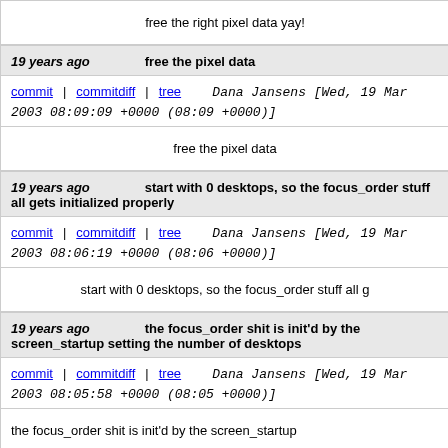free the right pixel data yay!
19 years ago    free the pixel data
commit | commitdiff | tree    Dana Jansens [Wed, 19 Mar 2003 08:09:09 +0000 (08:09 +0000)]
free the pixel data
19 years ago    start with 0 desktops, so the focus_order stuff all gets initialized properly
commit | commitdiff | tree    Dana Jansens [Wed, 19 Mar 2003 08:06:19 +0000 (08:06 +0000)]
start with 0 desktops, so the focus_order stuff all g
19 years ago    the focus_order shit is init'd by the screen_startup setting the number of desktops
commit | commitdiff | tree    Dana Jansens [Wed, 19 Mar 2003 08:05:58 +0000 (08:05 +0000)]
the focus_order shit is init'd by the screen_startup
19 years ago    shutdown everything before closing the